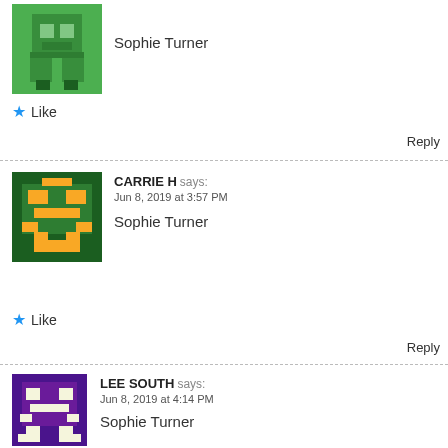[Figure (illustration): Pixel art avatar (green Minecraft-style character) for first commenter]
Sophie Turner
★ Like
Reply
[Figure (illustration): Pixel art avatar (green space invader style character on dark green background) for CARRIE H]
CARRIE H says: Jun 8, 2019 at 3:57 PM
Sophie Turner
★ Like
Reply
[Figure (illustration): Pixel art avatar (cream/beige space invader on purple background) for LEE SOUTH]
LEE SOUTH says: Jun 8, 2019 at 4:14 PM
Sophie Turner
[Figure (photo): Advertisement banner: KISS BORING LIPS GOODBYE with SHOP NOW button and Macy's logo]
Advertisements